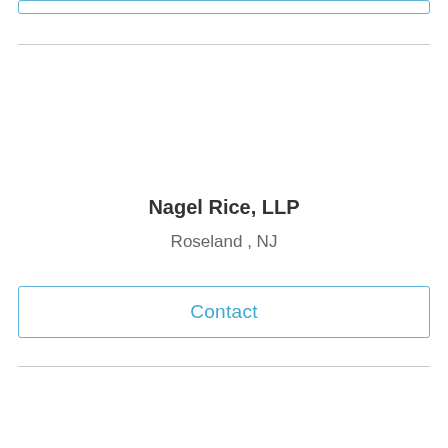Nagel Rice, LLP
Roseland , NJ
Contact